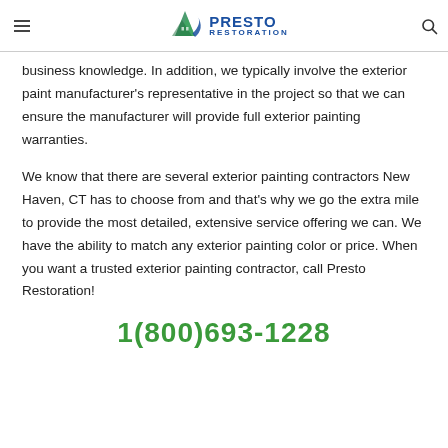Presto Restoration
business knowledge. In addition, we typically involve the exterior paint manufacturer's representative in the project so that we can ensure the manufacturer will provide full exterior painting warranties.
We know that there are several exterior painting contractors New Haven, CT has to choose from and that's why we go the extra mile to provide the most detailed, extensive service offering we can. We have the ability to match any exterior painting color or price. When you want a trusted exterior painting contractor, call Presto Restoration!
1(800)693-1228